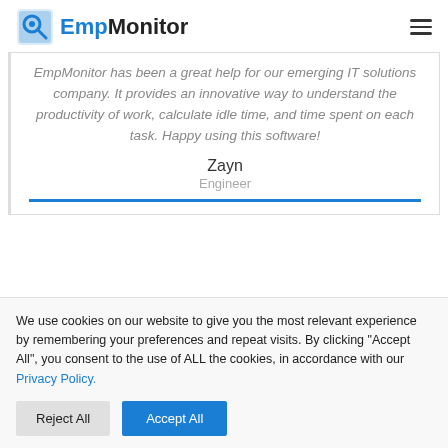EmpMonitor
EmpMonitor has been a great help for our emerging IT solutions company. It provides an innovative way to understand the productivity of work, calculate idle time, and time spent on each task. Happy using this software!
Zayn
Engineer
We use cookies on our website to give you the most relevant experience by remembering your preferences and repeat visits. By clicking "Accept All", you consent to the use of ALL the cookies, in accordance with our Privacy Policy.
Reject All | Accept All